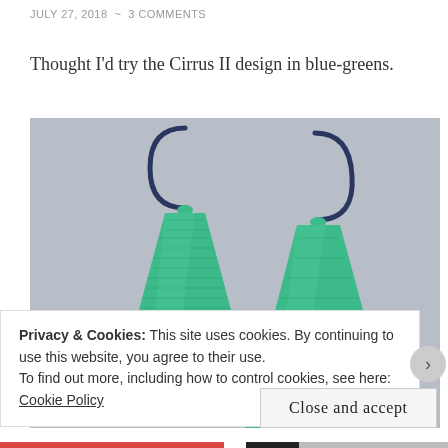JULY 27, 2018 ~ 3 COMMENTS
Thought I'd try the Cirrus II design in blue-greens.
[Figure (photo): Two beaded cone-shaped earrings made with green/teal beads and dark blue wire hooks, photographed against a light gray background.]
Privacy & Cookies: This site uses cookies. By continuing to use this website, you agree to their use.
To find out more, including how to control cookies, see here: Cookie Policy
Close and accept